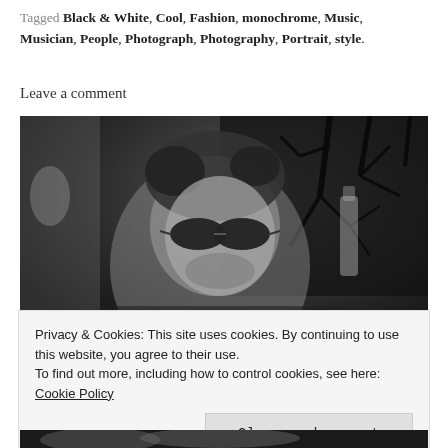Tagged Black & White, Cool, Fashion, monochrome, Music, Musician, People, Photograph, Photography, Portrait, style
Leave a comment
[Figure (photo): Black and white photograph of a man wearing sunglasses with disheveled hair, looking at the camera. Trees are visible in the background, and a bottle is partially visible. The image has a moody, artistic quality.]
Privacy & Cookies: This site uses cookies. By continuing to use this website, you agree to their use.
To find out more, including how to control cookies, see here: Cookie Policy
Close and accept
[Figure (photo): Partial black and white photograph visible at the bottom of the page.]